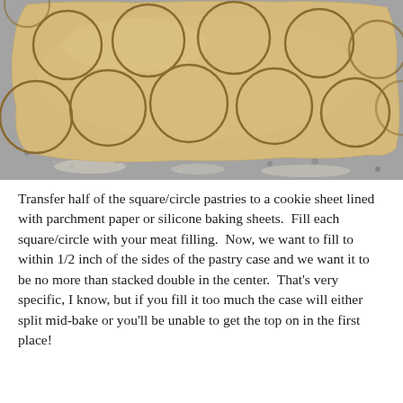[Figure (photo): A rolled-out pale yellow pastry dough on a floured granite surface with multiple circular cuts pressed into the dough using a round cutter, showing about 12 circles cut into the sheet.]
Transfer half of the square/circle pastries to a cookie sheet lined with parchment paper or silicone baking sheets.  Fill each square/circle with your meat filling.  Now, we want to fill to within 1/2 inch of the sides of the pastry case and we want it to be no more than stacked double in the center.  That's very specific, I know, but if you fill it too much the case will either split mid-bake or you'll be unable to get the top on in the first place!